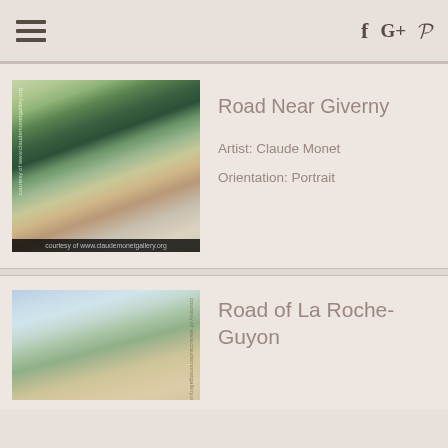☰  f  G+  ℗
[Figure (photo): Painting of a road near Giverny by Claude Monet, showing a tree-lined path with dappled light. Caption reads: courtesy of www.claudemonetgallery.org]
Road Near Giverny
Artist: Claude Monet
Orientation: Portrait
[Figure (photo): Partial painting of Road of La Roche-Guyon by Claude Monet, showing a landscape with blue sky and foliage.]
Road of La Roche-Guyon